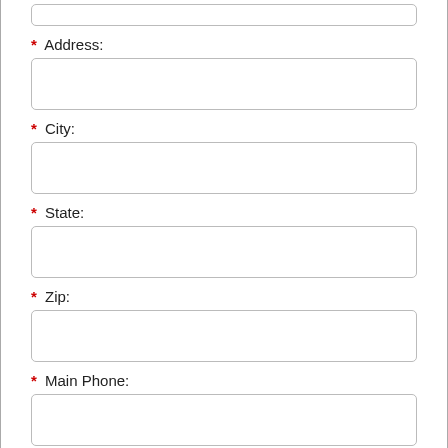* Address:
* City:
* State:
* Zip:
* Main Phone:
2nd/Cell Phone: